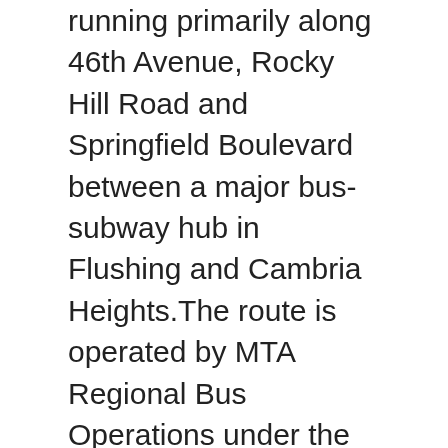running primarily along 46th Avenue, Rocky Hill Road and Springfield Boulevard between a major bus-subway hub in Flushing and Cambria Heights.The route is operated by MTA Regional Bus Operations under the New York City Transit brand.. Service on the route that became the Q27 started in October 1928. East bound Bx12 bus service also begins at this bus stop. Bus Schedule – Request a Stop Safe Location. There is no "QM" bus. Bus Q52 (Limited-Stop) Bus Q53 (Limited-Stop) See route stops on the map. BUS TIME customers who travel between 10:00 p.m. and 5:00 a.m. can Request-a-Stop. 17. QM17 Bus Route - Far Rockaway - Midtown. Operates: Monday - Friday Starts: Monday, 4 January 2021 Ends: Friday, 26 March 2021